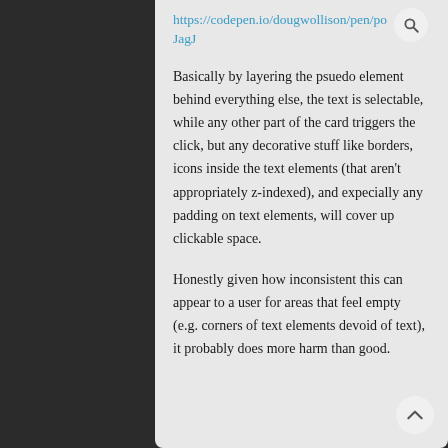https://codepen.io/dougwollison/pen/poJagJ
Basically by layering the psuedo element behind everything else, the text is selectable, while any other part of the card triggers the click, but any decorative stuff like borders, icons inside the text elements (that aren't appropriately z-indexed), and expecially any padding on text elements, will cover up clickable space.
Honestly given how inconsistent this can appear to a user for areas that feel empty (e.g. corners of text elements devoid of text), it probably does more harm than good.